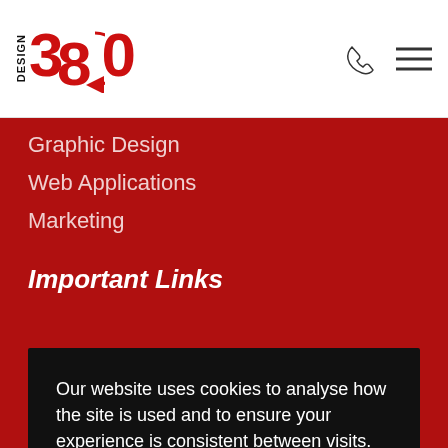[Figure (logo): Design 380 logo with red text and circular arrow]
Graphic Design
Web Applications
Marketing
Important Links
Our website uses cookies to analyse how the site is used and to ensure your experience is consistent between visits.
Read more
Accept
01543 624847